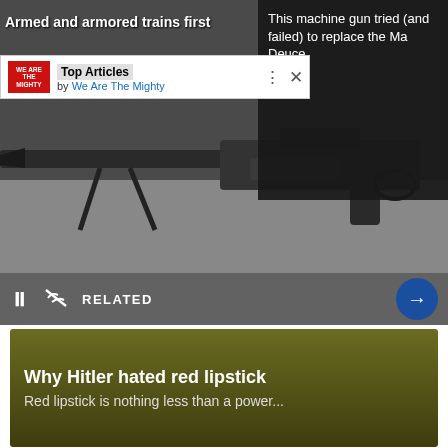[Figure (screenshot): Screenshot of a webpage showing a 'Top Articles by We Are The Mighty' widget overlaid on a dark background with a large machine gun image. Dark panel on top-right shows article title 'This machine gun tried (and failed) to replace the Ma Deuce'. Controls bar shows pause, mute, RELATED label and arrow navigation button.]
Armed and armored trains first
This machine gun tried (and failed) to replace the Ma Deuce
Top Articles
by We Are The Mighty
RELATED
Why Hitler hated red lipstick
Red lipstick is nothing less than a power...
You Might Also Like
Recommended by Outbrain
[Figure (photo): Photo of a young woman with curly hair against a gray background, cropped to show head and upper shoulders.]